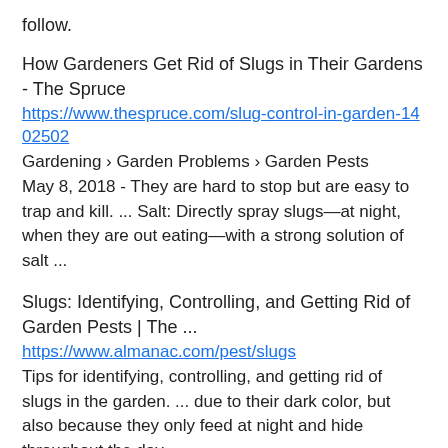follow.
How Gardeners Get Rid of Slugs in Their Gardens - The Spruce
https://www.thespruce.com/slug-control-in-garden-1402502
Gardening › Garden Problems › Garden Pests
May 8, 2018 - They are hard to stop but are easy to trap and kill. ... Salt: Directly spray slugs—at night, when they are out eating—with a strong solution of salt ...
Slugs: Identifying, Controlling, and Getting Rid of Garden Pests | The ...
https://www.almanac.com/pest/slugs
Tips for identifying, controlling, and getting rid of slugs in the garden. ... due to their dark color, but also because they only feed at night and hide throughout the day. ...
Alcohol kills these pests by acting as a surfactant, or wetting agent, that can ...
How To Get Rid of Slugs and Snails - pestHow
https://www.pesthow.com/how-to-get-rid-of-slugs-and-snails/
Jump to How To Kill Slugs and Snails - Salt effectively kills